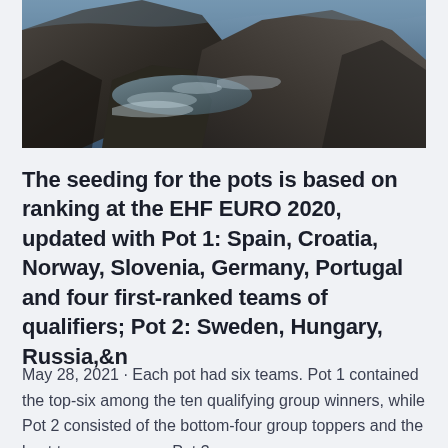[Figure (photo): Photograph of rocky coastal scene with water and large dark boulders, viewed from above or close angle. Dark tones with blue-grey and brown hues.]
The seeding for the pots is based on ranking at the EHF EURO 2020, updated with Pot 1: Spain, Croatia, Norway, Slovenia, Germany, Portugal and four first-ranked teams of qualifiers; Pot 2: Sweden, Hungary, Russia,&n
May 28, 2021 · Each pot had six teams. Pot 1 contained the top-six among the ten qualifying group winners, while Pot 2 consisted of the bottom-four group toppers and the best two runners-up. Pot 3